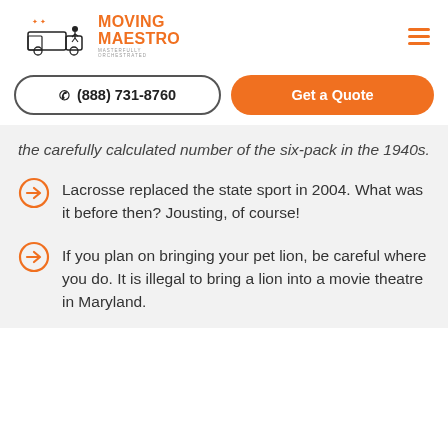Moving Maestro — Masterfully Orchestrated
(888) 731-8760 | Get a Quote
the carefully calculated number of the six-pack in the 1940s.
Lacrosse replaced the state sport in 2004. What was it before then? Jousting, of course!
If you plan on bringing your pet lion, be careful where you do. It is illegal to bring a lion into a movie theatre in Maryland.